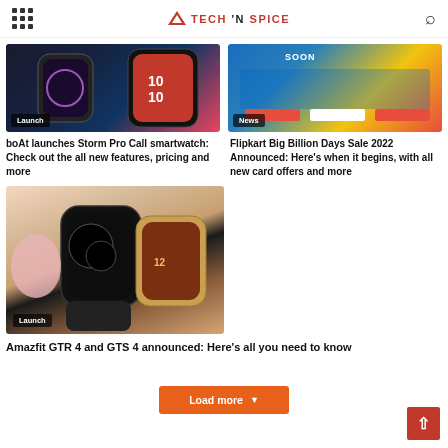TECH 'N SPICE
[Figure (photo): boAt Storm Pro Call smartwatch product image]
Launch
[Figure (photo): Flipkart Big Billion Days Sale 2022 announcement banner]
News
boAt launches Storm Pro Call smartwatch: Check out the all new features, pricing and more
Flipkart Big Billion Days Sale 2022 Announced: Here's when it begins, with all new card offers and more
[Figure (photo): Amazfit GTR 4 and GTS 4 smartwatch product image]
Launch
Amazfit GTR 4 and GTS 4 announced: Here's all you need to know